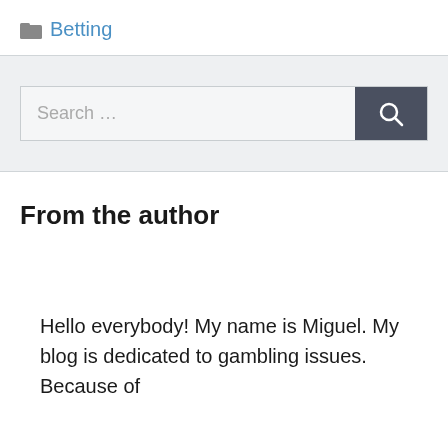Betting
[Figure (screenshot): Search bar with text 'Search ...' and a dark grey search button with magnifying glass icon]
From the author
Hello everybody! My name is Miguel. My blog is dedicated to gambling issues. Because of